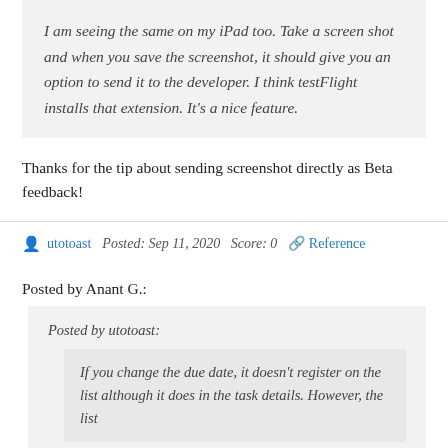I am seeing the same on my iPad too. Take a screen shot and when you save the screenshot, it should give you an option to send it to the developer. I think testFlight installs that extension. It's a nice feature.
Thanks for the tip about sending screenshot directly as Beta feedback!
utotoast   Posted: Sep 11, 2020   Score: 0   Reference
Posted by Anant G.:
Posted by utotoast:
If you change the due date, it doesn't register on the list although it does in the task details. However, the list